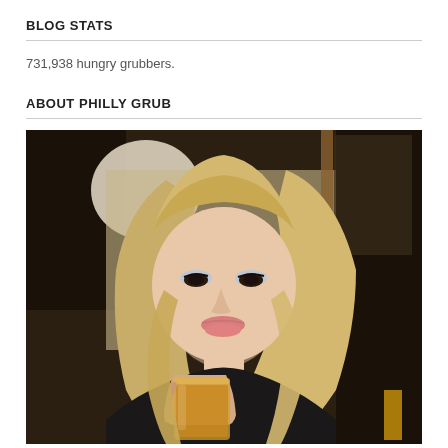BLOG STATS
731,938 hungry grubbers.
ABOUT PHILLY GRUB
[Figure (photo): A blonde woman with blue eyeshadow and red lipstick holding a glass of orange/amber colored drink, seated in a restaurant or bar setting with mirrors and dim lighting. Another person (bald, older man) is visible in the background.]